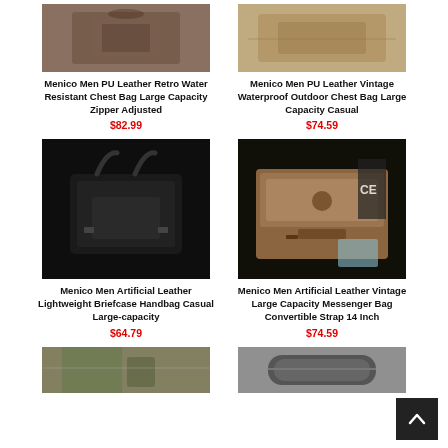[Figure (photo): Menico men's retro chest bag product photo - brown leather bag]
Menico Men PU Leather Retro Water Resistant Chest Bag Large Capacity Zipper Adjusted
$82.99
[Figure (photo): Menico men's vintage chest bag product photo - tan colored bag on floor]
Menico Men PU Leather Vintage Waterproof Outdoor Chest Bag Large Capacity Casual
$74.59
[Figure (photo): Menico men's briefcase handbag - black leather tote bag]
Menico Men Artificial Leather Lightweight Briefcase Handbag Casual Large-capacity
$64.79
[Figure (photo): Menico men's messenger bag - brown vintage convertible bag]
Menico Men Artificial Leather Vintage Large Capacity Messenger Bag Convertible Strap 14 Inch
$74.59
[Figure (photo): Menico men's bag worn by model - olive green pants, shoulder bag]
[Figure (photo): Menico men's cylindrical bag - dark gray roll bag]